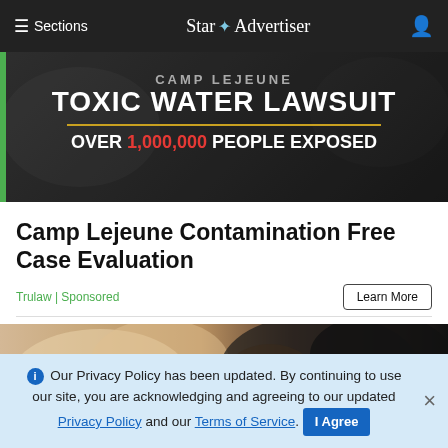≡ Sections  Star ✦ Advertiser
[Figure (infographic): Camp Lejeune Toxic Water Lawsuit advertisement banner. Text: 'CAMP LEJEUNE TOXIC WATER LAWSUIT — OVER 1,000,000 PEOPLE EXPOSED' on dark background with green left border.]
Camp Lejeune Contamination Free Case Evaluation
Trulaw | Sponsored
[Figure (photo): Close-up photo of puppies — one light/cream colored and one black — snuggled together.]
ℹ Our Privacy Policy has been updated. By continuing to use our site, you are acknowledging and agreeing to our updated Privacy Policy and our Terms of Service. I Agree